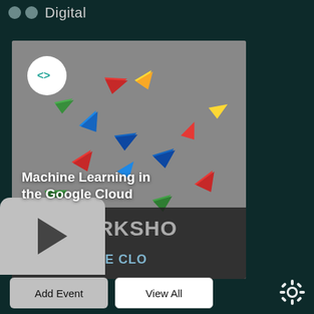Digital
[Figure (photo): Photo of colorful paper planes (origami) in red, blue, green, and yellow scattered on a gray surface, with a white circular code icon button overlay (showing angle brackets symbol) in the top-left of the image. Text overlay reads 'Machine Learning in the Google Cloud'. Bottom of image shows partial text 'DEV WORKSHO' and 'r 2019' badge and 'HE GOOGLE CLO'.]
Machine Learning in the Google Cloud
DEV WORKSHOP
2019
HE GOOGLE CLO
Add Event
View All